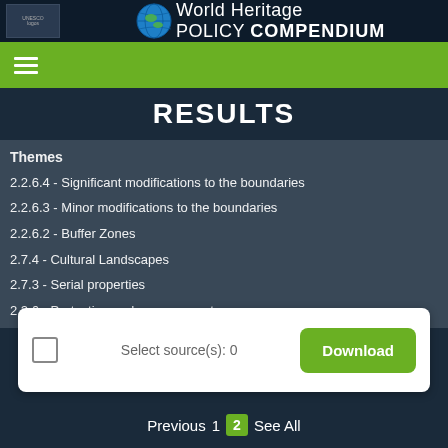World Heritage Policy Compendium
RESULTS
Themes
2.2.6.4 - Significant modifications to the boundaries
2.2.6.3 - Minor modifications to the boundaries
2.2.6.2 - Buffer Zones
2.7.4 - Cultural Landscapes
2.7.3 - Serial properties
2.2.6 - Protection and management
2.2.4 - Integrity
2.2.2 - World Heritage criteria
2.2.1 - Outstanding Universal Value: definition and attributes
2.4 - Upstream Process
Select source(s): 0
Download
Previous 1 2 See All